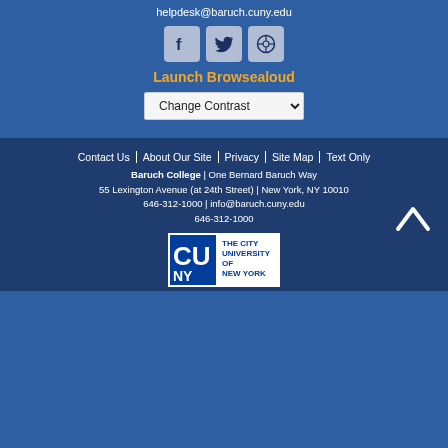helpdesk@baruch.cuny.edu
[Figure (other): Social media icons: Facebook, Twitter, WordPress]
Launch Browsealoud
[Figure (other): Change Contrast dropdown selector]
Contact Us | About Our Site | Privacy | Site Map | Text Only
Baruch College | One Bernard Baruch Way
55 Lexington Avenue (at 24th Street) | New York, NY 10010
646-312-1000 | info@baruch.cuny.edu
646-312-1000
[Figure (logo): CUNY - The City University of New York logo]